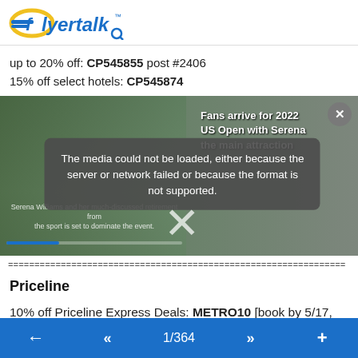FlyerTalk
up to 20% off: CP545855 post #2406
15% off select hotels: CP545874
[Figure (screenshot): Video player with error overlay. Background shows crowd at 2022 US Open tennis event with Serena. Right side text: 'Fans arrive for 2022 US Open with Serena the main attraction'. Error message overlay: 'The media could not be loaded, either because the server or network failed or because the format is not supported.' Large X close symbol shown.]
================================================================
Priceline
10% off Priceline Express Deals: METRO10 [book by 5/17, stay by 5/27]
← << 1/364 >> +